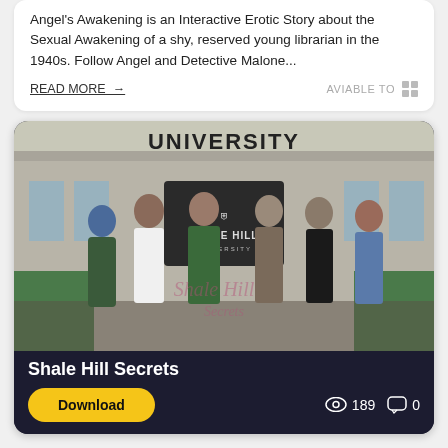Angel's Awakening is an Interactive Erotic Story about the Sexual Awakening of a shy, reserved young librarian in the 1940s. Follow Angel and Detective Malone...
READ MORE →
AVIABLE TO
[Figure (illustration): Shale Hill Secrets game card showing six female characters standing in front of a university building with the text UNIVERSITY and SHALE HILL UNIVERSITY sign. Game title overlay reads Shale Hill Secrets with cursive watermark. Download button and stats (189 views, 0 comments) at the bottom.]
Shale Hill Secrets
Download
189
0
Shale Hill Secrets is about a guy who stumbles upon a